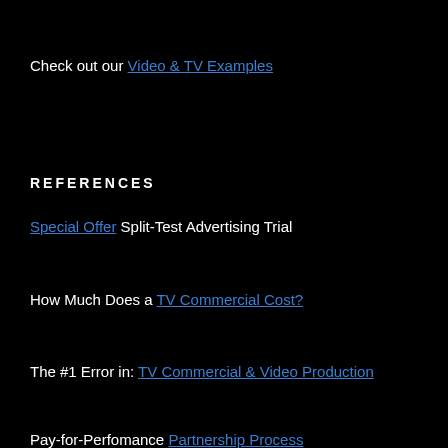Check out our Video & TV Examples
REFERENCES
Special Offer Split-Test Advertising Trial
How Much Does a TV Commercial Cost?
The #1 Error in: TV Commercial & Video Production
Pay-for-Perfomance Partnership Process